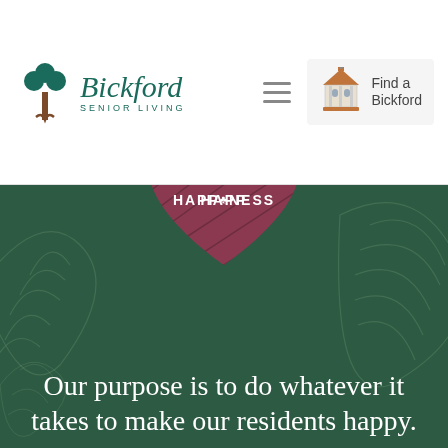[Figure (logo): Bickford Senior Living logo with green tree icon and italic teal text]
[Figure (illustration): Hamburger menu icon (three horizontal lines)]
[Figure (illustration): Find a Bickford button with gazebo/pavilion icon]
[Figure (illustration): Dark red/mauve heart-shaped badge with diagonal line texture and HAPPINESS text with clover symbol in center]
Our purpose is to do whatever it takes to make our residents happy.